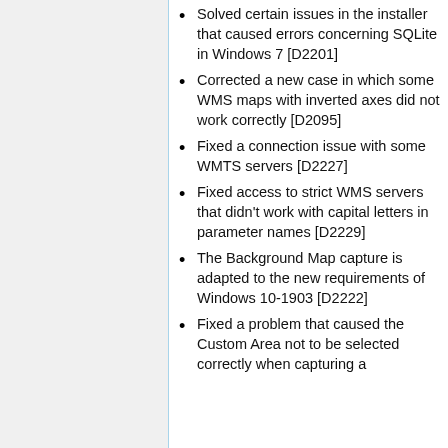Solved certain issues in the installer that caused errors concerning SQLite in Windows 7 [D2201]
Corrected a new case in which some WMS maps with inverted axes did not work correctly [D2095]
Fixed a connection issue with some WMTS servers [D2227]
Fixed access to strict WMS servers that didn't work with capital letters in parameter names [D2229]
The Background Map capture is adapted to the new requirements of Windows 10-1903 [D2222]
Fixed a problem that caused the Custom Area not to be selected correctly when capturing a